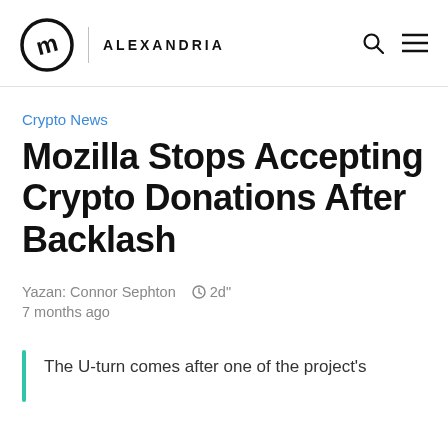ALEXANDRIA
Crypto News
Mozilla Stops Accepting Crypto Donations After Backlash
Yazan: Connor Sephton  ⊙ 2d"
7 months ago
The U-turn comes after one of the project's